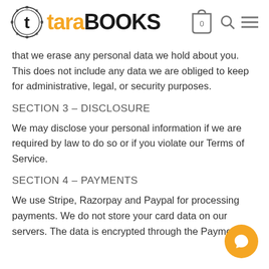tara BOOKS
that we erase any personal data we hold about you. This does not include any data we are obliged to keep for administrative, legal, or security purposes.
SECTION 3 – DISCLOSURE
We may disclose your personal information if we are required by law to do so or if you violate our Terms of Service.
SECTION 4 – PAYMENTS
We use Stripe, Razorpay and Paypal for processing payments. We do not store your card data on our servers. The data is encrypted through the Payment Card Industry Data Security Standard (PCI-DSS).